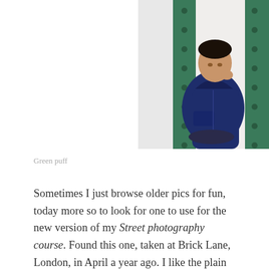[Figure (photo): A young man wearing a navy blue puffer hoodie jacket, leaning against a white wall beside a green metal post with rivets, photographed at Brick Lane, London.]
Green puff
Sometimes I just browse older pics for fun, today more so to look for one to use for the new version of my Street photography course. Found this one, taken at Brick Lane, London, in April a year ago. I like the plain colors and the simple elements. So